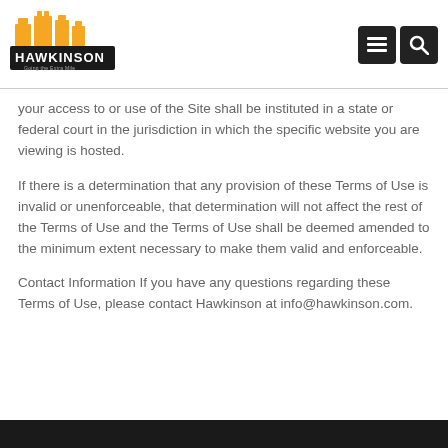[Figure (logo): Hawkinson logo with orange building silhouette and tagline 'Going the Extra Mile']
your access to or use of the Site shall be instituted in a state or federal court in the jurisdiction in which the specific website you are viewing is hosted.
If there is a determination that any provision of these Terms of Use is invalid or unenforceable, that determination will not affect the rest of the Terms of Use and the Terms of Use shall be deemed amended to the minimum extent necessary to make them valid and enforceable.
Contact Information If you have any questions regarding these Terms of Use, please contact Hawkinson at info@hawkinson.com.